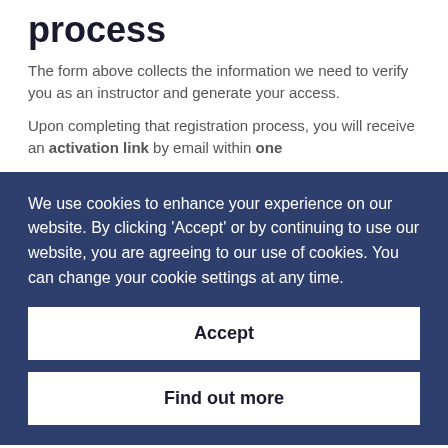process
The form above collects the information we need to verify you as an instructor and generate your access.
Upon completing that registration process, you will receive an activation link by email within one
We use cookies to enhance your experience on our website. By clicking 'Accept' or by continuing to use our website, you are agreeing to our use of cookies. You can change your cookie settings at any time.
Accept
Find out more